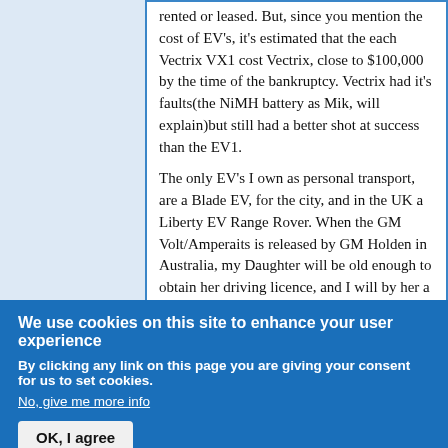rented or leased. But, since you mention the cost of EV's, it's estimated that the each Vectrix VX1 cost Vectrix, close to $100,000 by the time of the bankruptcy. Vectrix had it's faults(the NiMH battery as Mik, will explain)but still had a better shot at success than the EV1.
The only EV's I own as personal transport, are a Blade EV, for the city, and in the UK a Liberty EV Range Rover. When the GM Volt/Amperaits is released by GM Holden in Australia, my Daughter will be old enough to obtain her driving licence, and I will by her a Volt as a first car. I am strongly tempted by the Fisker-Karma, however, the cost in Australia of a Fisker would be
We use cookies on this site to enhance your user experience
By clicking any link on this page you are giving your consent for us to set cookies.
No, give me more info
OK, I agree